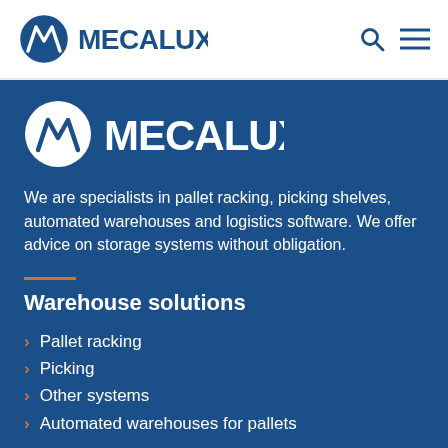[Figure (logo): Mecalux logo in header: circular M icon in blue with white stripes, followed by MECALUX text in bold dark blue]
[Figure (logo): Mecalux logo large on blue background: circular M icon in white with blue stripes, followed by MECALUX text in white bold]
We are specialists in pallet racking, picking shelves, automated warehouses and logistics software. We offer advice on storage systems without obligation.
Warehouse solutions
Pallet racking
Picking
Other systems
Automated warehouses for pallets